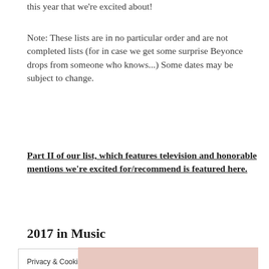this year that we're excited about!
Note: These lists are in no particular order and are not completed lists (for in case we get some surprise Beyonce drops from someone who knows...) Some dates may be subject to change.
Part II of our list, which features television and honorable mentions we're excited for/recommend is featured here.
2017 in Music
Privacy & Cookies: This site uses cookies. By continuing to use this website, you agree to their use.
To find out more, including how to control cookies, see here: Privacy Policy
Accept and Close
[Figure (photo): Partial photo strip at the bottom of the page]